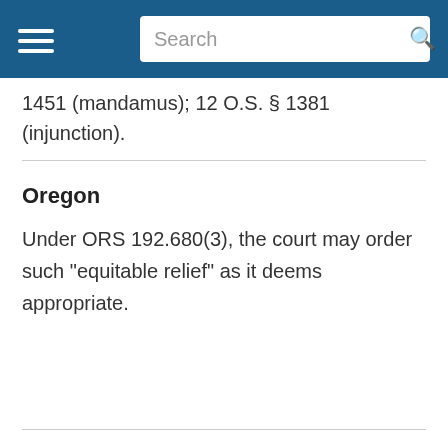Search
1451 (mandamus); 12 O.S. § 1381 (injunction).
Oregon
Under ORS 192.680(3), the court may order such “equitable relief” as it deems appropriate.